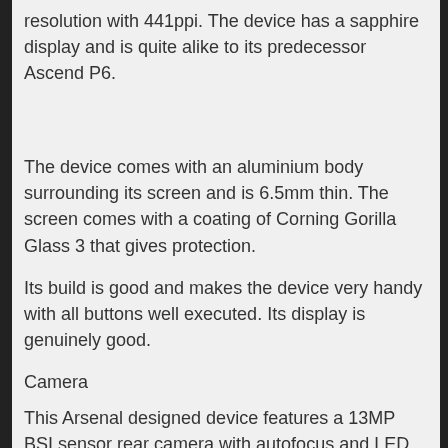resolution with 441ppi. The device has a sapphire display and is quite alike to its predecessor Ascend P6.
The device comes with an aluminium body surrounding its screen and is 6.5mm thin. The screen comes with a coating of Corning Gorilla Glass 3 that gives protection.
Its build is good and makes the device very handy with all buttons well executed. Its display is genuinely good.
Camera
This Arsenal designed device features a 13MP BSI sensor rear camera with autofocus and LED flash